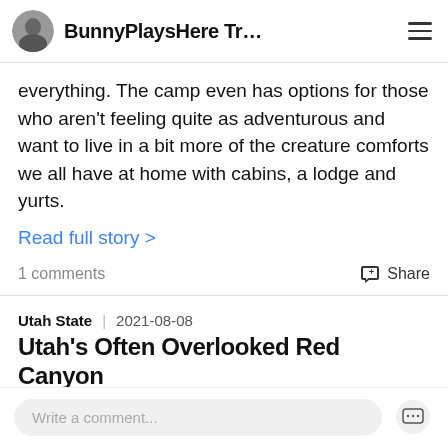BunnyPlaysHere Tr...
everything. The camp even has options for those who aren't feeling quite as adventurous and want to live in a bit more of the creature comforts we all have at home with cabins, a lodge and yurts.
Read full story >
1 comments    Share
Utah State   2021-08-08
Utah's Often Overlooked Red Canyon
[Figure (photo): Photo of red canyon rock formation against blue sky, partially visible]
Write a comment...